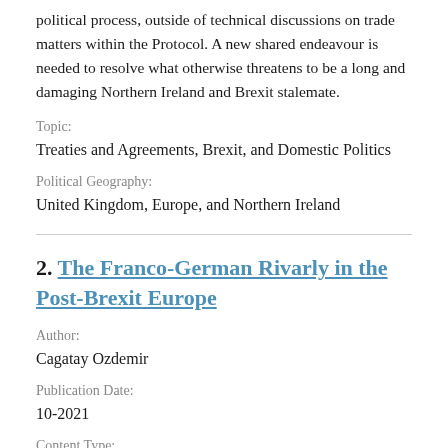political process, outside of technical discussions on trade matters within the Protocol. A new shared endeavour is needed to resolve what otherwise threatens to be a long and damaging Northern Ireland and Brexit stalemate.
Topic:
Treaties and Agreements, Brexit, and Domestic Politics
Political Geography:
United Kingdom, Europe, and Northern Ireland
2. The Franco-German Rivarly in the Post-Brexit Europe
Author:
Cagatay Ozdemir
Publication Date:
10-2021
Content Type: